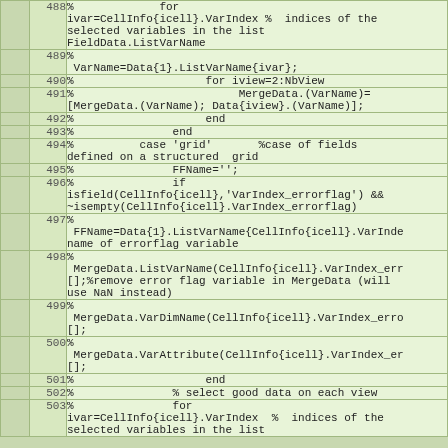[Figure (screenshot): Code editor view showing MATLAB source code lines 488-503 with line numbers, green background, monospace font. Code involves CellInfo, VarIndex, MergeData, ListVarName, FFName, and related variable operations.]